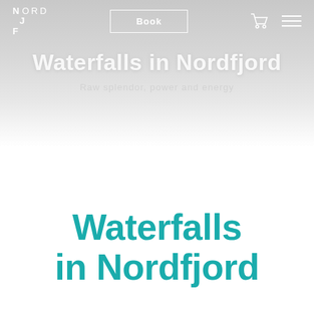NJORD | Book
Waterfalls in Nordfjord
Raw splendor, power and energy
Waterfalls in Nordfjord